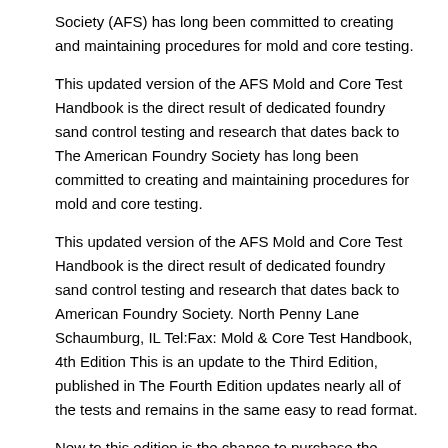Society (AFS) has long been committed to creating and maintaining procedures for mold and core testing.
This updated version of the AFS Mold and Core Test Handbook is the direct result of dedicated foundry sand control testing and research that dates back to The American Foundry Society has long been committed to creating and maintaining procedures for mold and core testing.
This updated version of the AFS Mold and Core Test Handbook is the direct result of dedicated foundry sand control testing and research that dates back to American Foundry Society. North Penny Lane Schaumburg, IL Tel:Fax: Mold & Core Test Handbook, 4th Edition This is an update to the Third Edition, published in The Fourth Edition updates nearly all of the tests and remains in the same easy to read format.
New to this edition is the chance to purchase the sections individually. More information will be available closer to the time the handbook will be File Size: 2MB.